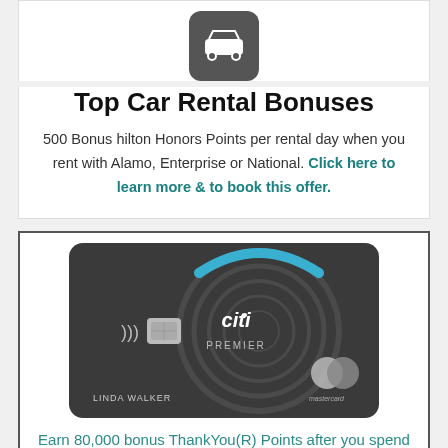[Figure (illustration): Car icon in a dark rounded square background]
Top Car Rental Bonuses
500 Bonus hilton Honors Points per rental day when you rent with Alamo, Enterprise or National. Click here to learn more & to book this offer.
[Figure (photo): Citi Premier Mastercard credit card in dark grey with blue accent, chip, contactless symbol, cardholder name LINDA WALKER]
Earn 80,000 bonus ThankYou(R) Points after you spend $4,000 in purchases within the first 3 months of account opening with the Citi Premier® Ca...